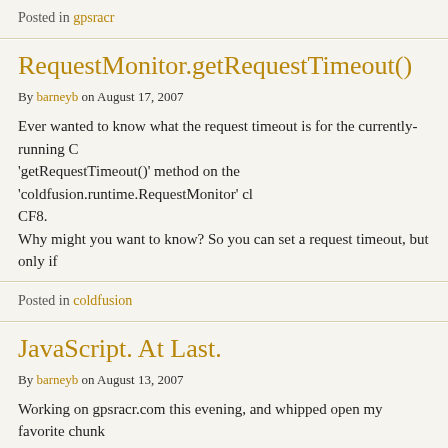Posted in gpsracr
RequestMonitor.getRequestTimeout()
By barneyb on August 17, 2007
Ever wanted to know what the request timeout is for the currently-running C... 'getRequestTimeout()' method on the 'coldfusion.runtime.RequestMonitor' cl... CF8. Why might you want to know? So you can set a request timeout, but only if
Posted in coldfusion
JavaScript. At Last.
By barneyb on August 13, 2007
Working on gpsracr.com this evening, and whipped open my favorite chunk... time. They've added support for automatically executing text that is returned